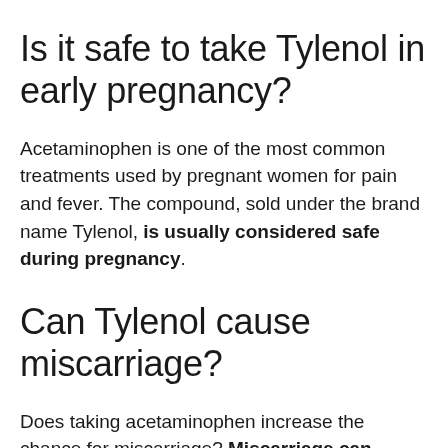Is it safe to take Tylenol in early pregnancy?
Acetaminophen is one of the most common treatments used by pregnant women for pain and fever. The compound, sold under the brand name Tylenol, is usually considered safe during pregnancy.
Can Tylenol cause miscarriage?
Does taking acetaminophen increase the chance for miscarriage? Miscarriage can occur in any pregnancy. Based on available studies, taking acetaminophen at the recommended doses is unlikely to